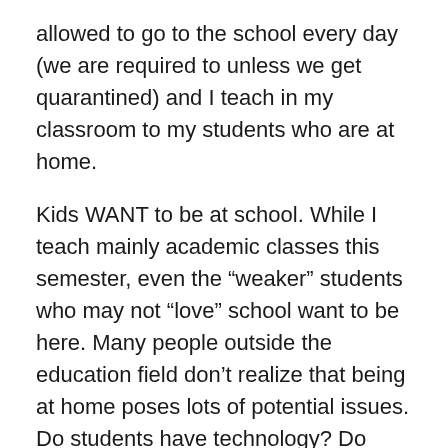allowed to go to the school every day (we are required to unless we get quarantined) and I teach in my classroom to my students who are at home.
Kids WANT to be at school. While I teach mainly academic classes this semester, even the “weaker” students who may not “love” school want to be here. Many people outside the education field don’t realize that being at home poses lots of potential issues. Do students have technology? Do they have reliable wifi? How many siblings do they have? Do their parents have to work from home too? Maybe their parents work shift work and having the children home during the day can wreck havoc on a normal routine. Do they come from a troubled home? Is there a chance of abuse if they are home all day? What if the school is the safest place for them to be from 8 am-3 pm? Now what?